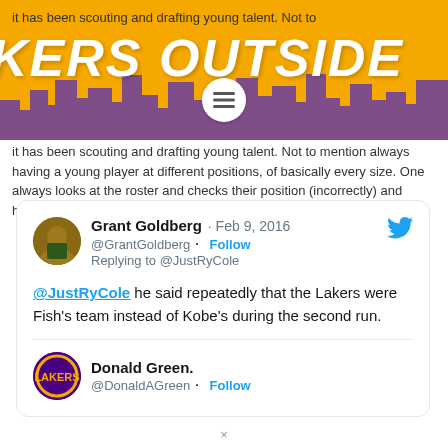[Figure (screenshot): Lakers Outside blog banner with gold/yellow background, purple city skyline silhouette, and large italic white text reading 'KERS OUTSIDE' with a circular menu icon overlay]
it has been scouting and drafting young talent. Not to mention always having a young player at different positions, of basically every size. One always looks at the roster and checks their position (incorrectly) and height.
[Figure (screenshot): Tweet from Grant Goldberg (@GrantGoldberg) on Feb 9, 2016 replying to @JustRyCole: '@JustRyCole he said repeatedly that the Lakers were Fish's team instead of Kobe's during the second run.' With Twitter bird icon.]
[Figure (screenshot): Partial tweet from Donald Green. (@DonaldAGreen) with Follow button visible]